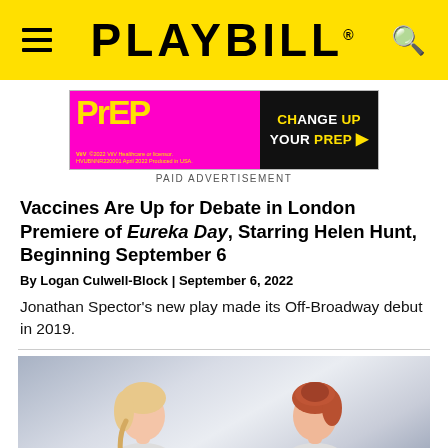PLAYBILL
[Figure (photo): Playbill advertisement banner for PrEP medication - 'CHANGE UP YOUR PrEP' on magenta/black background]
PAID ADVERTISEMENT
Vaccines Are Up for Debate in London Premiere of Eureka Day, Starring Helen Hunt, Beginning September 6
By Logan Culwell-Block | September 6, 2022
Jonathan Spector's new play made its Off-Broadway debut in 2019.
[Figure (photo): Two women with light and auburn hair posing against a gray gradient background for the Eureka Day production]